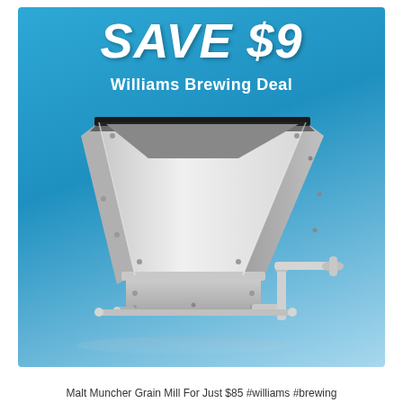[Figure (photo): Advertisement image with blue gradient background showing a stainless steel Malt Muncher grain mill with hopper and hand crank. Text overlaid reads SAVE $9 and Williams Brewing Deal.]
Malt Muncher Grain Mill For Just $85 #williams #brewing